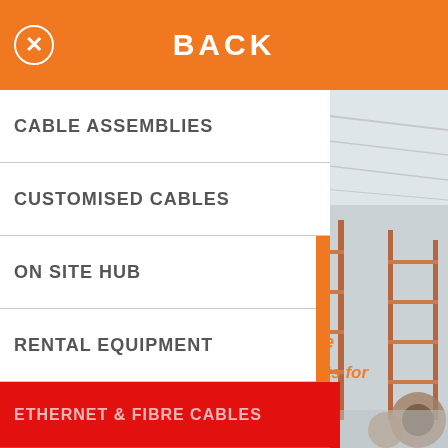BACK
CABLE ASSEMBLIES
CUSTOMISED CABLES
ON SITE HUB
RENTAL EQUIPMENT
ETHERNET & FIBRE CABLES
CABLE MARKING
CABLE CONNECTORS
CABLE ACCESSORIES
[Figure (photo): Warehouse interior with shelving racks and large cable reels]